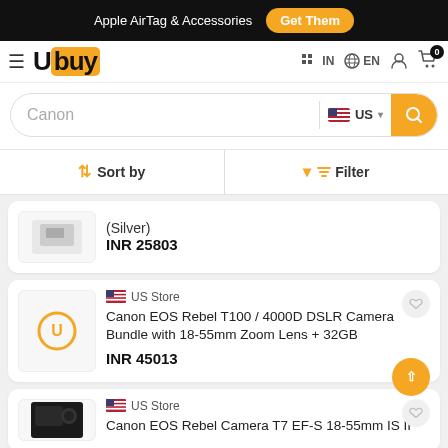Apple AirTag & Accessories  Get Them
[Figure (logo): Ubuy logo with hamburger menu and navigation icons (IN, EN, user, cart with 0)]
Canon (search input), US (region selector)
Sort by  Filter
(Silver)
INR 25803
US Store
Canon EOS Rebel T100 / 4000D DSLR Camera Bundle with 18-55mm Zoom Lens + 32GB
INR 45013
US Store
Canon EOS Rebel Camera T7 EF-S 18-55mm IS II